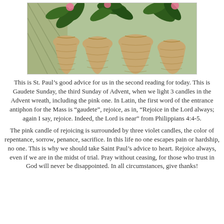[Figure (illustration): Illustration of three woven/terracotta pots with green tropical leaves and pink flowers on a mixed green background]
This is St. Paul’s good advice for us in the second reading for today. This is Gaudete Sunday, the third Sunday of Advent, when we light 3 candles in the Advent wreath, including the pink one. In Latin, the first word of the entrance antiphon for the Mass is “gaudete”, rejoice, as in, “Rejoice in the Lord always; again I say, rejoice. Indeed, the Lord is near” from Philippians 4:4-5.
The pink candle of rejoicing is surrounded by three violet candles, the color of repentance, sorrow, penance, sacrifice. In this life no one escapes pain or hardship, no one. This is why we should take Saint Paul’s advice to heart. Rejoice always, even if we are in the midst of trial. Pray without ceasing, for those who trust in God will never be disappointed. In all circumstances, give thanks!